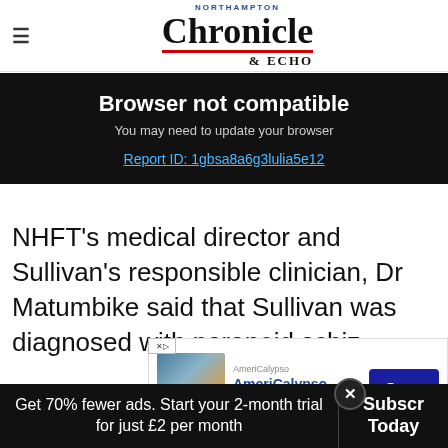Northampton Chronicle & Echo
Browser not compatible
You may need to update your browser
Report ID: 1gbsa8a6g3lulia5e12
NHFT's medical director and Sullivan's responsible clinician, Dr Matumbike said that Sullivan was diagnosed with paranoid schizophrenia in 2017 and has since required hospitalisation.
[Figure (screenshot): AmeriCalypso advertisement banner showing AmeriCalypso Steel Drum Band with an Open button]
Get 70% fewer ads. Start your 2-month trial for just £2 per month